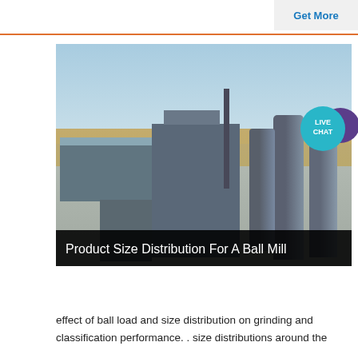Get More
[Figure (photo): Aerial view of an industrial facility with a large grey warehouse/factory building on the left, processing equipment and machinery in the center, a chimney/smokestack, and large cylindrical silos on the right, set on a flat arid landscape under a clear sky. A 'LIVE CHAT' bubble overlay appears in the upper right corner of the image.]
Product Size Distribution For A Ball Mill
effect of ball load and size distribution on grinding and classification performance. . size distributions around the